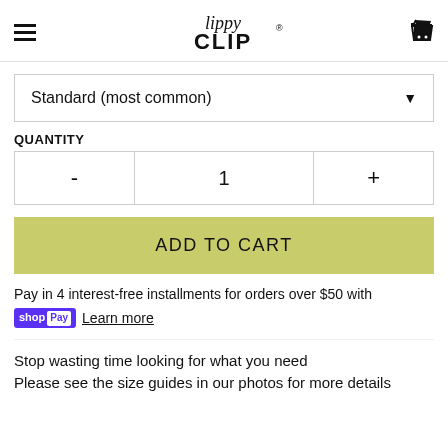[Figure (logo): LippyCLIP logo in script/display font, centered in header]
Standard (most common)
QUANTITY
- 1 +
ADD TO CART
Pay in 4 interest-free installments for orders over $50 with shop Pay Learn more
Stop wasting time looking for what you need
Please see the size guides in our photos for more details